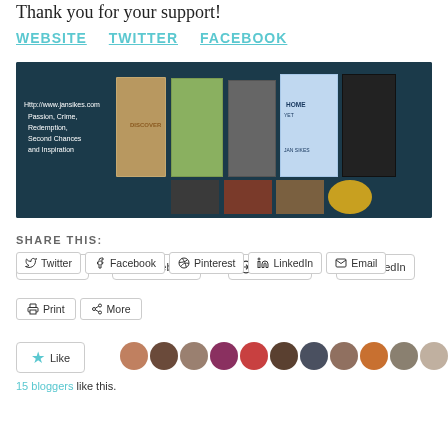Thank you for your support!
WEBSITE   TWITTER   FACEBOOK
[Figure (photo): Banner image for Jan Sikes website showing book covers on dark teal background with text: Http://www.jansikes.com Passion, Crime, Redemption, Second Chances and Inspiration]
SHARE THIS:
Twitter
Facebook
Pinterest
LinkedIn
Email
Print
More
Like
15 bloggers like this.